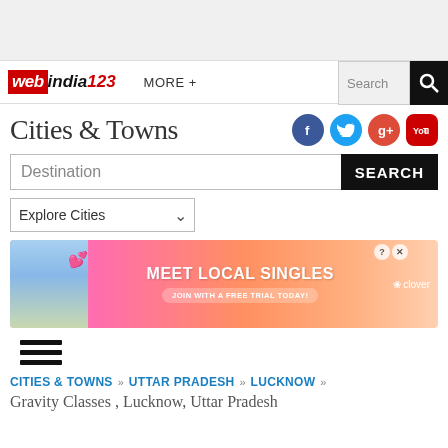[Figure (screenshot): Gray banner area at top of web page]
webindia123  MORE +  Search
Cities & Towns
[Figure (infographic): Social media icons: Facebook, Twitter, Google+, YouTube]
Destination  SEARCH
Explore Cities
[Figure (photo): Advertisement banner: MEET LOCAL SINGLES - JOIN WITH A FREE TRIAL TODAY - clover]
[Figure (infographic): Hamburger menu icon (three horizontal lines)]
CITIES & TOWNS  »  UTTAR PRADESH  »  LUCKNOW  »
Gravity Classes , Lucknow, Uttar Pradesh